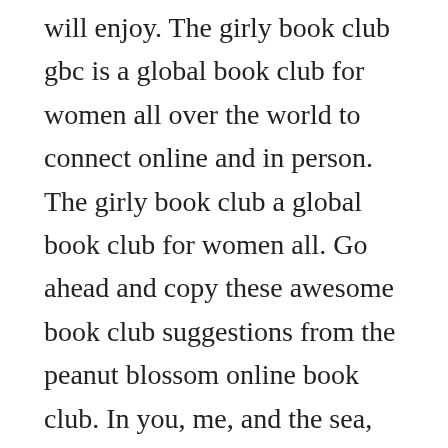will enjoy. The girly book club gbc is a global book club for women all over the world to connect online and in person. The girly book club a global book club for women all. Go ahead and copy these awesome book club suggestions from the peanut blossom online book club. In you, me, and the sea, young merrow meets amir, a boy who takes away her pain and brings about her first true love story. A club for likeminded women to discuss great books. Sep 06, 2018 characterdriven novels i couldnt put down.
At the next first meeting someone sets with a list...